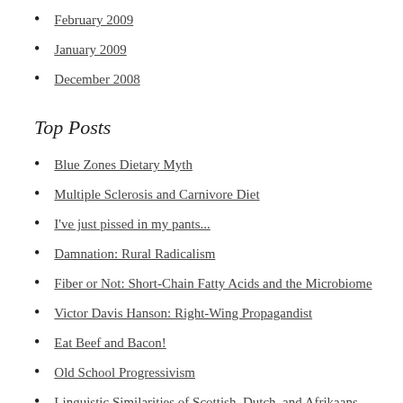February 2009
January 2009
December 2008
Top Posts
Blue Zones Dietary Myth
Multiple Sclerosis and Carnivore Diet
I've just pissed in my pants...
Damnation: Rural Radicalism
Fiber or Not: Short-Chain Fatty Acids and the Microbiome
Victor Davis Hanson: Right-Wing Propagandist
Eat Beef and Bacon!
Old School Progressivism
Linguistic Similarities of Scottish, Dutch, and Afrikaans
Are 'vegetarians' or 'carnivores' healthier?